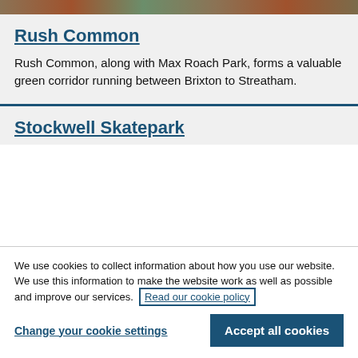[Figure (photo): Narrow strip of outdoor nature/park photo at top of page]
Rush Common
Rush Common, along with Max Roach Park, forms a valuable green corridor running between Brixton to Streatham.
Stockwell Skatepark
We use cookies to collect information about how you use our website. We use this information to make the website work as well as possible and improve our services.
Read our cookie policy
Change your cookie settings
Accept all cookies